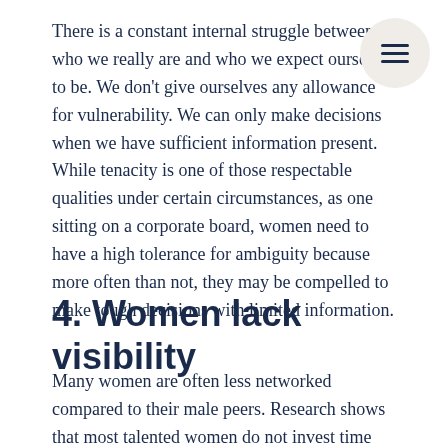There is a constant internal struggle between who we really are and who we expect ourselves to be. We don't give ourselves any allowance for vulnerability. We can only make decisions when we have sufficient information present. While tenacity is one of those respectable qualities under certain circumstances, as one sitting on a corporate board, women need to have a high tolerance for ambiguity because more often than not, they may be compelled to make tough decisions with limited information.
4. Women lack visibility
Many women are often less networked compared to their male peers. Research shows that most talented women do not invest time increasing their visibility through networking and mentoring others